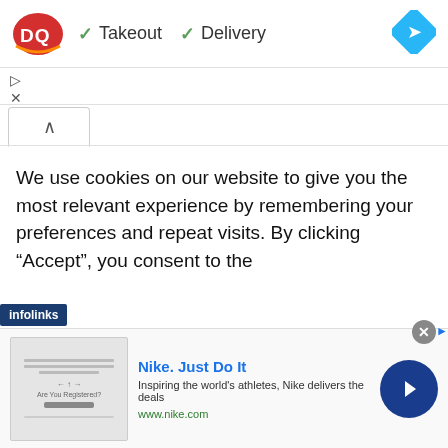[Figure (screenshot): DQ (Dairy Queen) logo — red oval with white DQ letters]
✓ Takeout  ✓ Delivery
[Figure (logo): Google Maps directions icon — blue diamond with white arrow]
[Figure (infographic): Small play/close icons below header bar]
[Figure (screenshot): Tab with up caret (^) indicating expandable panel]
We use cookies on our website to give you the most relevant experience by remembering your preferences and repeat visits. By clicking “Accept”, you consent to the
[Figure (logo): Infolinks ad network badge]
[Figure (screenshot): Nike advertisement banner: Nike. Just Do It — Inspiring the world's athletes, Nike delivers the deals — www.nike.com]